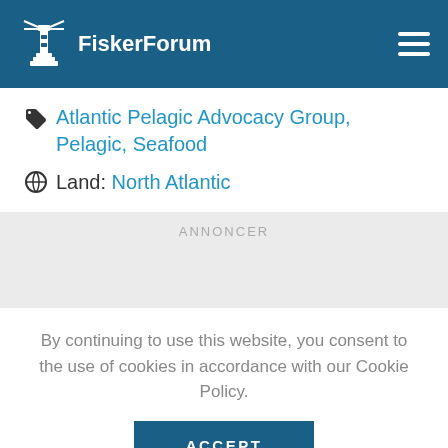FiskerForum
Atlantic Pelagic Advocacy Group, Pelagic, Seafood
Land: North Atlantic
ANNONCER
By continuing to use this website, you consent to the use of cookies in accordance with our Cookie Policy.
ACCEPT